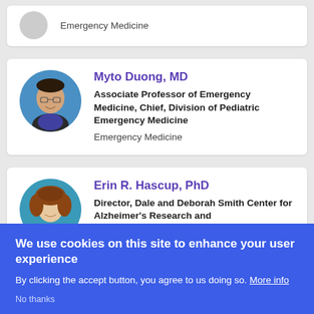Emergency Medicine
[Figure (photo): Portrait photo of Myto Duong, MD]
Myto Duong, MD
Associate Professor of Emergency Medicine, Chief, Division of Pediatric Emergency Medicine
Emergency Medicine
[Figure (photo): Portrait photo of Erin R. Hascup, PhD]
Erin R. Hascup, PhD
Director, Dale and Deborah Smith Center for Alzheimer's Research and
We use cookies on this site to enhance your user experience
By clicking the accept button, you agree to us doing so. More info
No thanks